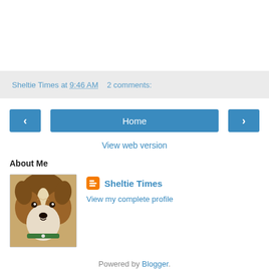Sheltie Times at 9:46 AM   2 comments:
< Home >
View web version
About Me
[Figure (photo): Profile photo of a Sheltie dog, brown and white coloring, facing camera, wearing a green collar]
Sheltie Times
View my complete profile
Powered by Blogger.